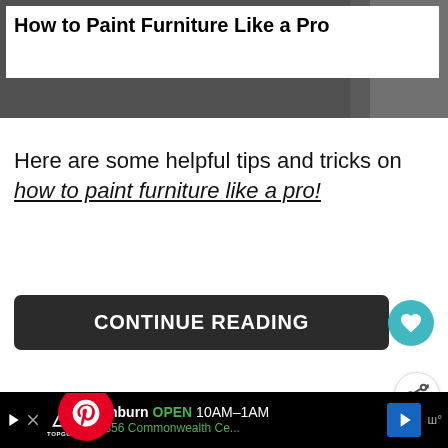[Figure (screenshot): Dark photograph of furniture/workspace, with white title overlay at top left reading 'How to Paint Furniture Like a Pro']
How to Paint Furniture Like a Pro
Here are some helpful tips and tricks on how to paint furniture like a pro!
[Figure (screenshot): CONTINUE READING button (dark/black) with teal heart icon button on right, and share icon below]
[Figure (screenshot): Before image of dark furniture with Pinterest badge overlay, WHAT'S NEXT panel showing Amazing DIY Furniture...]
[Figure (screenshot): Ad bar at bottom: Topgolf Ashburn OPEN 10AM-1AM, 20356 Commonwealth Ce...]